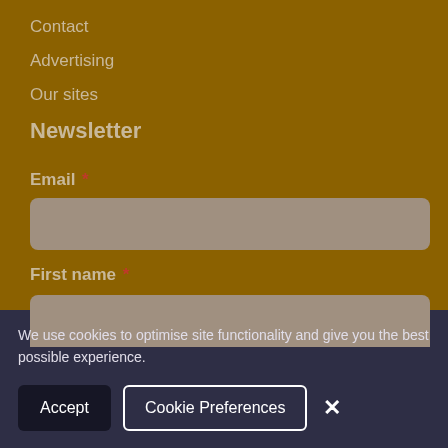Contact
Advertising
Our sites
Newsletter
Email *
First name *
We use cookies to optimise site functionality and give you the best possible experience.
Accept
Cookie Preferences
×